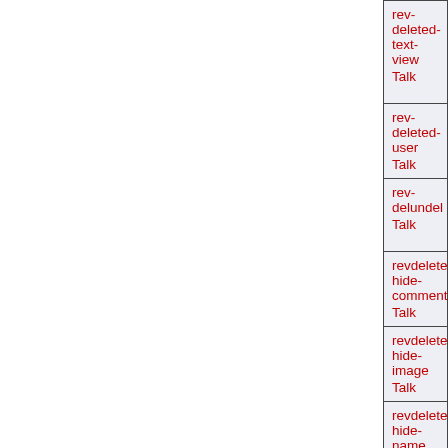| rev-deleted-text-view
Talk |
| rev-deleted-user
Talk |
| rev-delundel
Talk |
| revdelete-hide-comment
Talk |
| revdelete-hide-image
Talk |
| revdelete-hide-name
Talk |
| revdelete-hide-restricted
Talk |
| revdelete-hide-text
Talk |
| revdelete-hide-user
Talk |
| revdelete-legend
... |